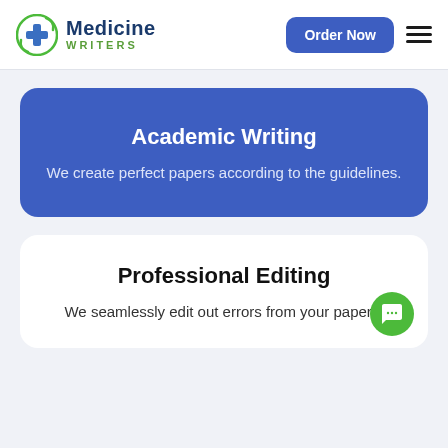Medicine Writers — Order Now
Academic Writing
We create perfect papers according to the guidelines.
Professional Editing
We seamlessly edit out errors from your papers.